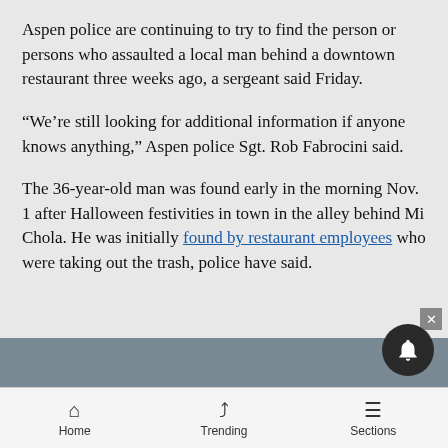Aspen police are continuing to try to find the person or persons who assaulted a local man behind a downtown restaurant three weeks ago, a sergeant said Friday.
“We’re still looking for additional information if anyone knows anything,” Aspen police Sgt. Rob Fabrocini said.
The 36-year-old man was found early in the morning Nov. 1 after Halloween festivities in town in the alley behind Mi Chola. He was initially found by restaurant employees who were taking out the trash, police have said.
Home   Trending   Sections